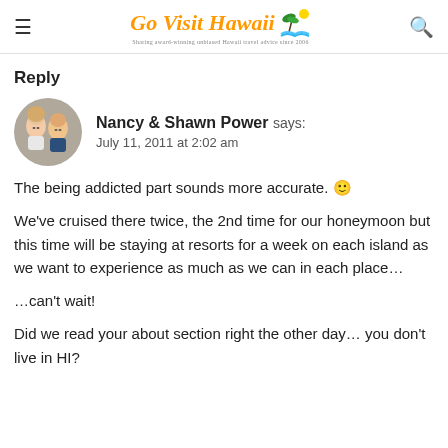Go Visit Hawaii — Sharing award-winning unbiased Hawaii travel advice since 2006
Reply
Nancy & Shawn Power says: July 11, 2011 at 2:02 am
The being addicted part sounds more accurate. 🙂
We've cruised there twice, the 2nd time for our honeymoon but this time will be staying at resorts for a week on each island as we want to experience as much as we can in each place…
…can't wait!
Did we read your about section right the other day… you don't live in HI?